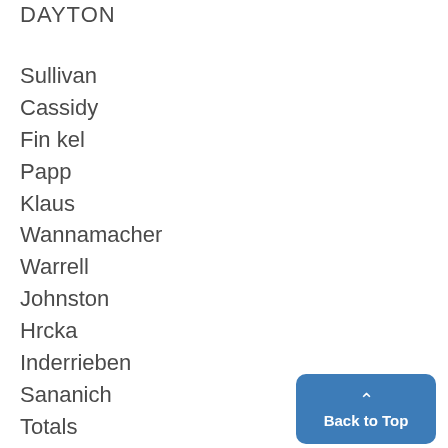DAYTON
Sullivan
Cassidy
Fin kel
Papp
Klaus
Wannamacher
Warrell
Johnston
Hrcka
Inderrieben
Sananich
Totals